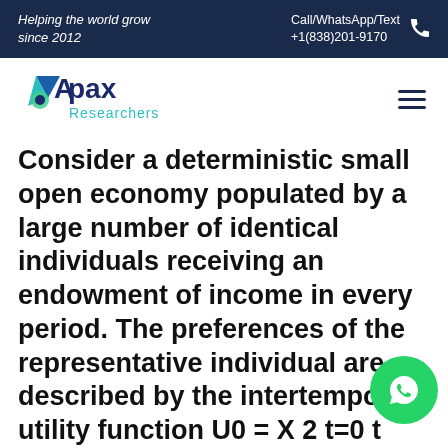Helping the world grow since 2012 | Call/WhatsApp/Text +1(838)201-9170
[Figure (logo): Apax Researchers logo with triangular icon in blue, green and teal, with text 'Apax Researchers']
Consider a deterministic small open economy populated by a large number of identical individuals receiving an endowment of income in every period. The preferences of the representative individual are described by the intertemporal utility function U0 = X 2 t=0 t (ct) with = 1 1+ . In every per the individual faces the budget